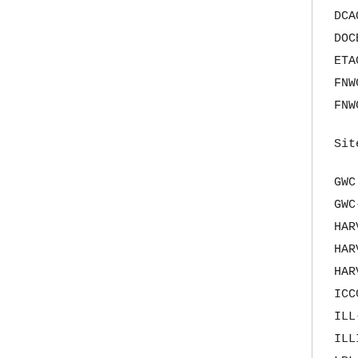| Site Ident | Address |
| --- | --- |
| DCAO | - s |
| DOCB | 153 |
| ETAC-TIP | 148 |
| FNWC | 33 s |
| FNWC-TIP | 161 s |
| Site Ident | Address |
| GWC | 24 i |
| GWC-TIP | 152 |
| HARV-1 | 73 |
| HARV-10 | 9 |
| HARV-11 | 137 |
| ICCC | 161 s |
| ILL-ANTS | 12 |
| ILLIAC | 15 |
| LBL | 34 s |
| LLL | - s |
| LL-67 | 10 |
| LL-TSP | 138 |
| LL-TX-2 | 74 |